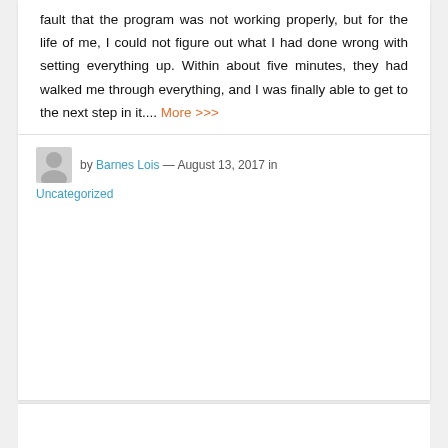fault that the program was not working properly, but for the life of me, I could not figure out what I had done wrong with setting everything up. Within about five minutes, they had walked me through everything, and I was finally able to get to the next step in it.... More >>>
by Barnes Lois — August 13, 2017 in Uncategorized